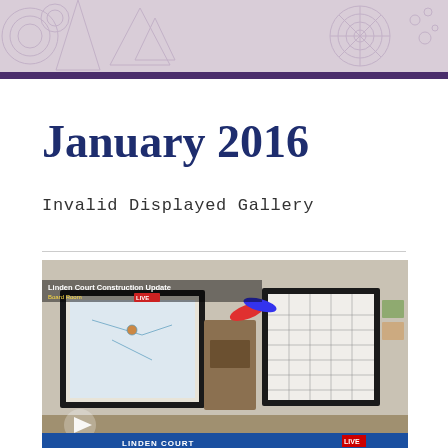January 2016
Invalid Displayed Gallery
[Figure (screenshot): Video screenshot of 'Linden Court Construction Update' news segment with chyron showing 'LINDEN COURT CONSTRUCTION UPDATE' on a blue lower-third banner. A LIVE badge and KOPNews3 logo appear in the lower right. Displays easel boards with maps/calendars in an indoor setting. Play button visible at bottom-left.]